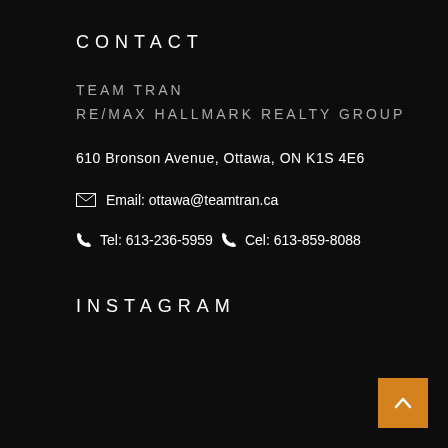CONTACT
TEAM TRAN
RE/MAX HALLMARK REALTY GROUP
610 Bronson Avenue, Ottawa, ON K1S 4E6
✉  Email: ottawa@teamtran.ca
✆  Tel: 613-236-5959 ✆  Cel: 613-859-8088
INSTAGRAM
[Figure (other): Orange back-to-top button with upward arrow chevron]